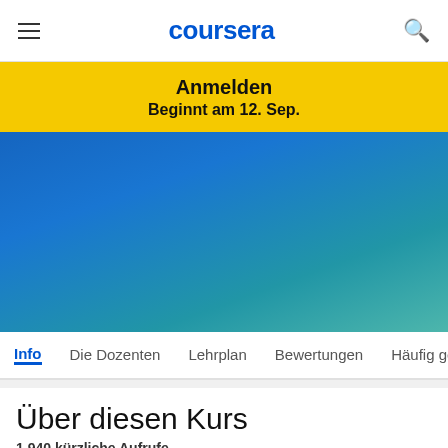coursera
Anmelden
Beginnt am 12. Sep.
[Figure (screenshot): Blue gradient background section of Coursera course page]
Info   Die Dozenten   Lehrplan   Bewertungen   Häufig ge
Über diesen Kurs
1.940 kürzliche Aufrufe
Managing multiple projects presents different and additional